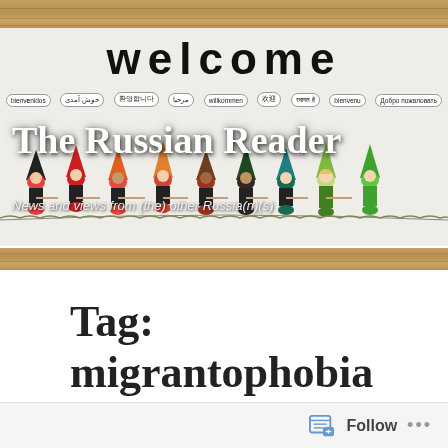[Figure (photo): Blog header banner image showing a 'welcome' sign with cartoon gnome figures holding hands and speech bubbles in multiple languages, overlaid with site title and subtitle. Wooden floor visible at top and bottom.]
The Russian Reader
News and views from (the) other Russia(n)(s)
Tag: migrantophobia
Follow ...